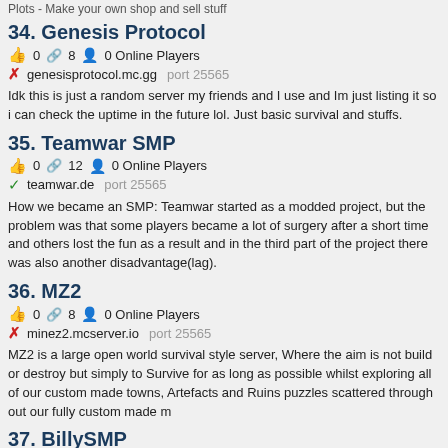Plots - Make your own shop and sell stuff
34. Genesis Protocol
👍 0  🔗 8  👤 0 Online Players
✗ genesisprotocol.mc.gg  port 25565
Idk this is just a random server my friends and I use and Im just listing it so i can check the uptime in the future lol. Just basic survival and stuffs.
35. Teamwar SMP
👍 0  🔗 12  👤 0 Online Players
✓ teamwar.de  port 25565
How we became an SMP: Teamwar started as a modded project, but the problem was that some players became a lot of surgery after a short time and others lost the fun as a result and in the third part of the project there was also another disadvantage(lag).
36. MZ2
👍 0  🔗 8  👤 0 Online Players
✗ minez2.mcserver.io  port 25565
MZ2 is a large open world survival style server, Where the aim is not build or destroy but simply to Survive for as long as possible whilst exploring all of our custom made towns, Artefacts and Ruins puzzles scattered through out our fully custom made m
37. BillySMP
👍 0  🔗 10  👤 0 Online Players
✗ billymicmac.com  port 25565